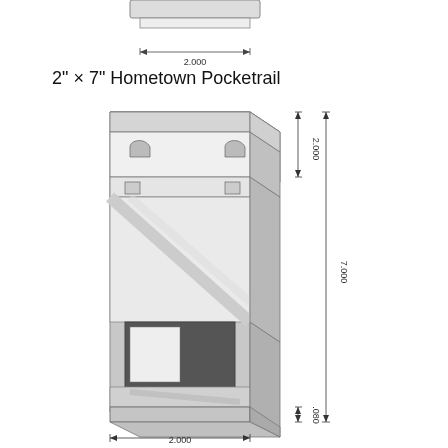[Figure (engineering-diagram): Partial view of 2x7 Hometown Pocketrail profile showing cross-section with dimension 2.000 width at top]
2" × 7" Hometown Pocketrail
[Figure (engineering-diagram): 3D isometric and cross-section engineering drawing of 2" x 7" Hometown Pocketrail extrusion profile with dimensions: 2.000 width at top, 2.000 height of upper pocket section, 7.000 total height, .080 bottom wall thickness, 2.000 width at bottom]